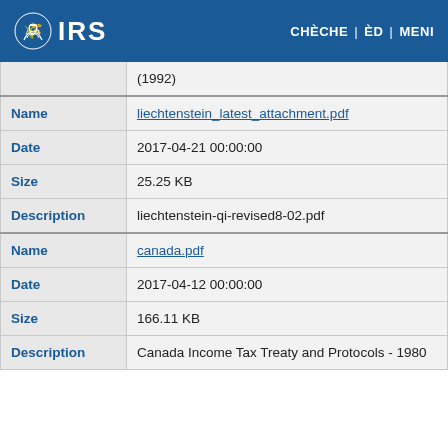IRS | CHÈCHE | ÈD | MENI
| Field | Value |
| --- | --- |
|  | (1992) |
| Name | liechtenstein_latest_attachment.pdf |
| Date | 2017-04-21 00:00:00 |
| Size | 25.25 KB |
| Description | liechtenstein-qi-revised8-02.pdf |
| Name | canada.pdf |
| Date | 2017-04-12 00:00:00 |
| Size | 166.11 KB |
| Description | Canada Income Tax Treaty and Protocols - 1980 |